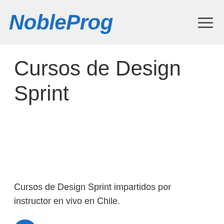NobleProg
Cursos de Design Sprint
Cursos de Design Sprint impartidos por instructor en vivo en Chile.
Testimonios
los ejrcicios
SERVICIO ELECTRONICO DE PAGO S.A.